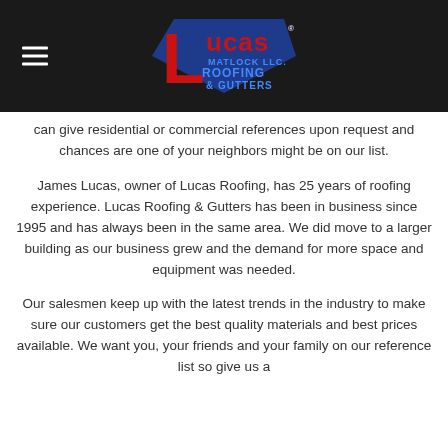[Figure (logo): Lucas Matlock LLC Roofing & Gutters logo with large red L and blue diamond shape]
can give residential or commercial references upon request and chances are one of your neighbors might be on our list.
James Lucas, owner of Lucas Roofing, has 25 years of roofing experience. Lucas Roofing & Gutters has been in business since 1995 and has always been in the same area. We did move to a larger building as our business grew and the demand for more space and equipment was needed.
Our salesmen keep up with the latest trends in the industry to make sure our customers get the best quality materials and best prices available. We want you, your friends and your family on our reference list so give us a